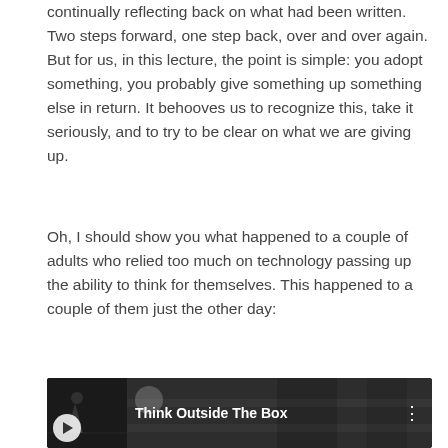continually reflecting back on what had been written. Two steps forward, one step back, over and over again. But for us, in this lecture, the point is simple: you adopt something, you probably give something up something else in return. It behooves us to recognize this, take it seriously, and to try to be clear on what we are giving up.
Oh, I should show you what happened to a couple of adults who relied too much on technology passing up the ability to think for themselves. This happened to a couple of them just the other day:
[Figure (screenshot): A YouTube video thumbnail showing a dark grayscale image with the title 'Think Outside The Box' displayed in white text, with a three-dot menu icon on the right.]